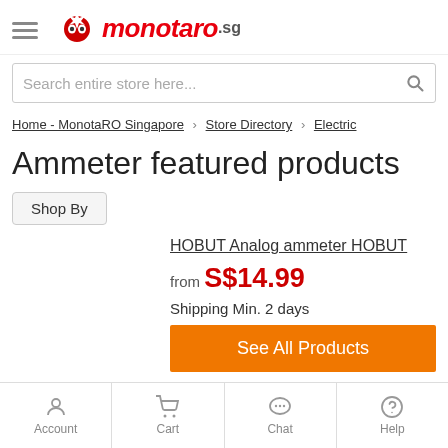[Figure (logo): Monotaro.sg logo with hamburger menu icon]
Search entire store here...
Home - MonotaRO Singapore > Store Directory > Electric
Ammeter featured products
Shop By
HOBUT Analog ammeter HOBUT
from S$14.99
Shipping Min. 2 days
See All Products
Account
Cart
Chat
Help